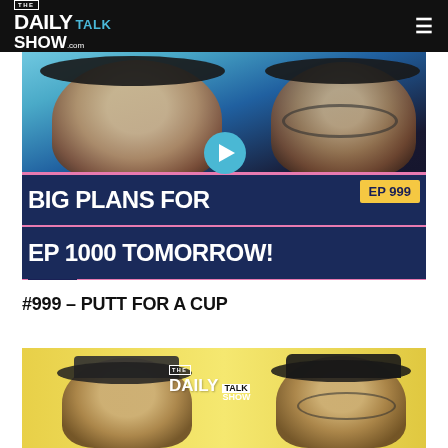THE DAILY TALK SHOW .com
[Figure (photo): Thumbnail for episode 999 of The Daily Talk Show. Two men wearing headphones, one laughing, one with glasses. Banner reads 'BIG PLANS FOR EP 999 / EP 1000 TOMORROW!' with #999 badge. Play button overlay in center.]
#999 – PUTT FOR A CUP
[Figure (photo): Thumbnail for another episode of The Daily Talk Show on a yellow background. Two men wearing headphones, one eating food. The Daily Talk Show logo visible.]